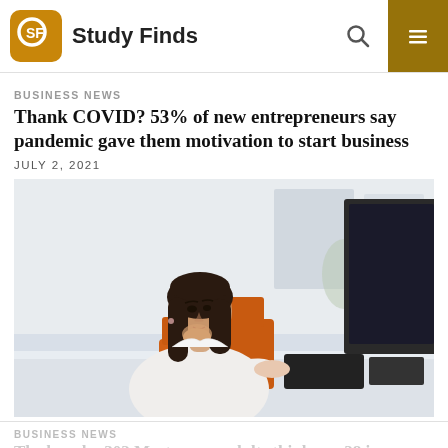Study Finds
BUSINESS NEWS
Thank COVID? 53% of new entrepreneurs say pandemic gave them motivation to start business
JULY 2, 2021
[Figure (photo): Young brunette woman in white shirt sitting at a desk in an office, resting her chin on her hand and looking upward thoughtfully, with an orange chair and computer monitor visible in the background]
BUSINESS NEWS
The boss by 30? Most young adults think age 28 is